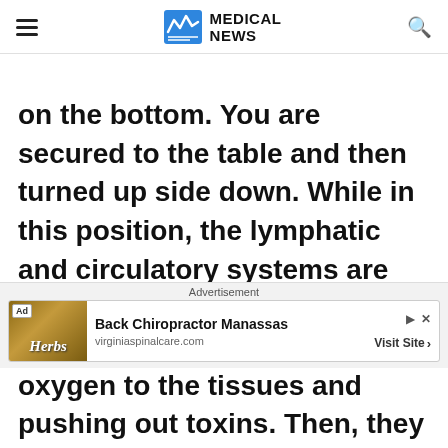MEDICAL NEWS
on the bottom. You are secured to the table and then turned up side down. While in this position, the lymphatic and circulatory systems are stimulated. Gravity works with the body, bring blood and oxygen to the tissues and pushing out toxins. Then, they move through the lymphatic system so they can be filtered
Advertisement
Ad | Back Chiropractor Manassas | virginiaspinalcare.com | Visit Site